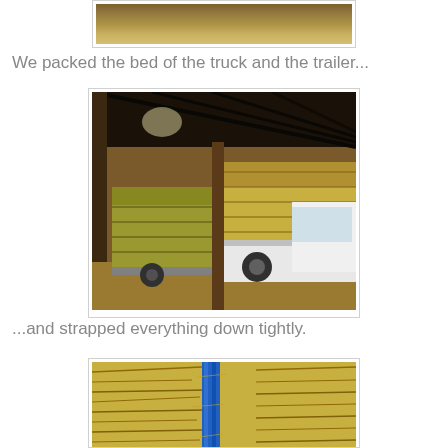[Figure (photo): Partial view of tractor or machinery near hay/straw on ground, top portion cropped]
We packed the bed of the truck and the trailer...
[Figure (photo): Interior of a barn showing a white pickup truck and a small trailer both loaded with large square hay bales]
...and strapped everything down tightly.
[Figure (photo): Close-up of hay bales strapped down with a blue strap, partially visible at bottom of page]